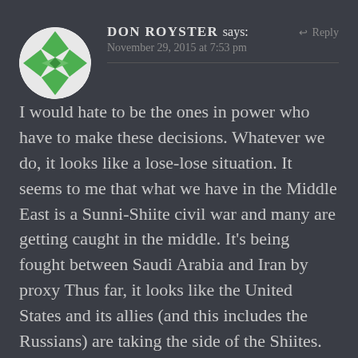[Figure (illustration): Circular avatar with green and white geometric/diamond pattern on dark background]
DON ROYSTER says:
↩ Reply
November 29, 2015 at 7:53 pm
I would hate to be the ones in power who have to make these decisions. Whatever we do, it looks like a lose-lose situation. It seems to me that what we have in the Middle East is a Sunni-Shiite civil war and many are getting caught in the middle. It's being fought between Saudi Arabia and Iran by proxy Thus far, it looks like the United States and its allies (and this includes the Russians) are taking the side of the Shiites.